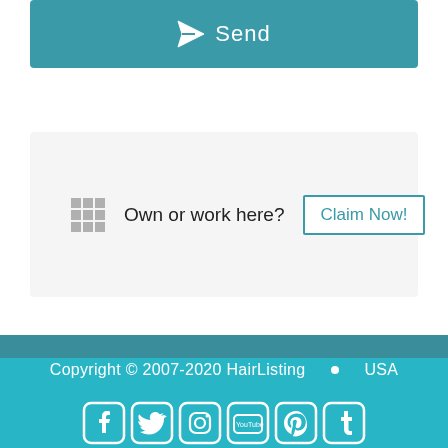[Figure (infographic): Teal Send button with paper airplane icon]
Own or work here? Claim Now!
About Us   Contact   Privacy Policy   Terms and Conditions
Copyright © 2007-2020 HairListing  •  USA
[Figure (infographic): Social media icons: Facebook, Twitter, Instagram, YouTube, Pinterest, Tumblr]